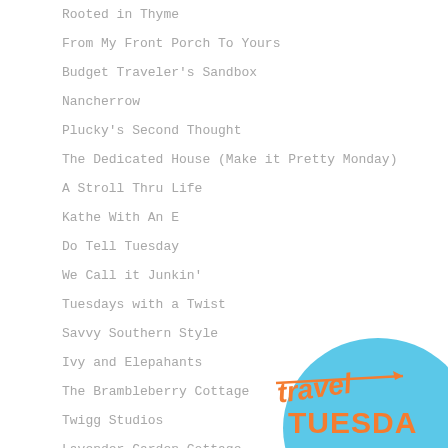Rooted in Thyme
From My Front Porch To Yours
Budget Traveler's Sandbox
Nancherrow
Plucky's Second Thought
The Dedicated House (Make it Pretty Monday)
A Stroll Thru Life
Kathe With An E
Do Tell Tuesday
We Call it Junkin'
Tuesdays with a Twist
Savvy Southern Style
Ivy and Elepahants
The Brambleberry Cottage
Twigg Studios
Lavender Garden Cottage
[Figure (logo): Travel Tuesday logo with orange handwritten text on a light blue circular background]